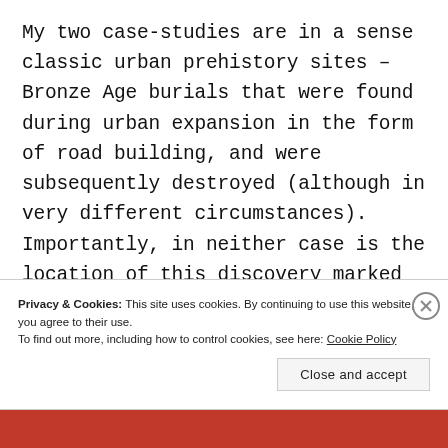My two case-studies are in a sense classic urban prehistory sites – Bronze Age burials that were found during urban expansion in the form of road building, and were subsequently destroyed (although in very different circumstances). Importantly, in neither case is the location of this discovery marked in any way, almost nothing is known about the sites, and in at least one instance the nearest resident was completely
Privacy & Cookies: This site uses cookies. By continuing to use this website, you agree to their use.
To find out more, including how to control cookies, see here: Cookie Policy
Close and accept